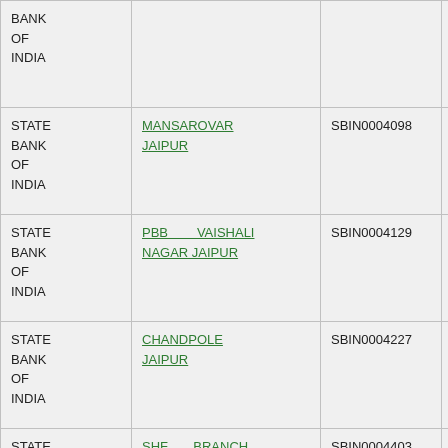| Bank | Branch | IFSC | MICR |
| --- | --- | --- | --- |
| STATE BANK OF INDIA |  |  |  |
| STATE BANK OF INDIA | MANSAROVAR JAIPUR | SBIN0004098 | 302002020 |
| STATE BANK OF INDIA | PBB VAISHALI NAGAR JAIPUR | SBIN0004129 | 302002019 |
| STATE BANK OF INDIA | CHANDPOLE JAIPUR | SBIN0004227 | 302002021 |
| STATE BANK OF INDIA | SHF BRANCH JAIPUR | SBIN0004403 | 302002024 |